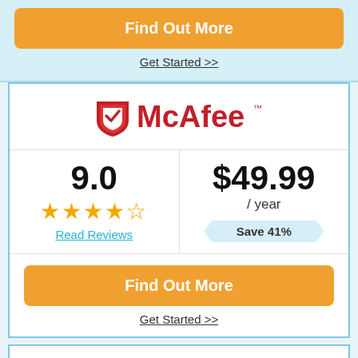Find Out More
Get Started >>
[Figure (logo): McAfee logo with red shield and red McAfee text with TM mark]
9.0
[Figure (other): 4.5 star rating in yellow stars]
Read Reviews
$49.99 / year
Save 41%
Find Out More
Get Started >>